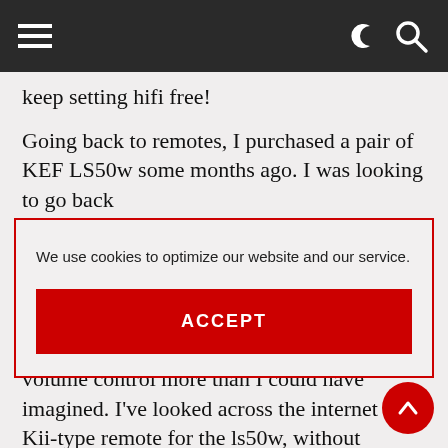Navigation bar with hamburger menu and search/dark-mode icons
keep setting hifi free!
Going back to remotes, I purchased a pair of KEF LS50w some months ago. I was looking to go back
We use cookies to optimize our website and our service.
ACCEPT
volume control more than I could have imagined. I've looked across the internet for a Kii-type remote for the ls50w, without success. Do you know if such a thing exists?